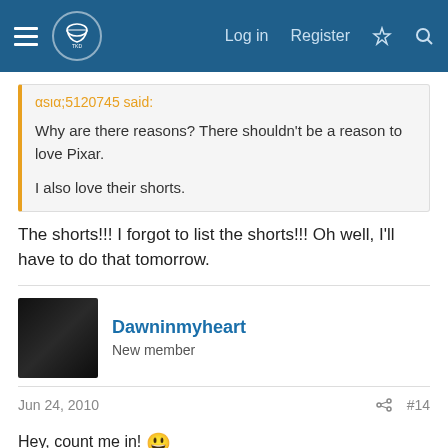Navigation bar with logo, Log in, Register links
αsια;5120745 said:
Why are there reasons? There shouldn't be a reason to love Pixar.
I also love their shorts.
The shorts!!! I forgot to list the shorts!!! Oh well, I'll have to do that tomorrow.
Dawninmyheart
New member
Jun 24, 2010   #14
Hey, count me in! 😁
Pixar is made of awesomeness. They never fail to entertain me.